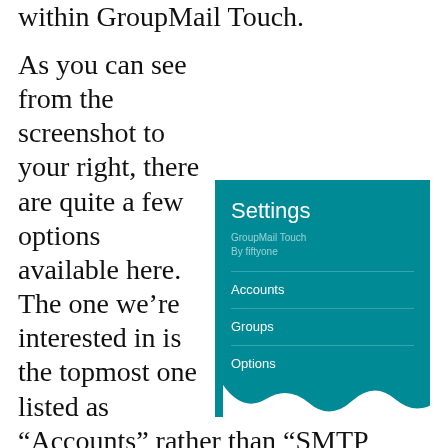within GroupMail Touch.
As you can see from the screenshot to your right, there are quite a few options available here. The one we’re interested in is the topmost one listed as “Accounts” rather than “SMTP Accounts”, for sake of brevity. (The other items such as Groups and
[Figure (screenshot): A screenshot of a GroupMail Touch Settings menu on a teal/turquoise background showing: Settings header, GroupMail Touch By fiftyone subtitle, and menu items: Accounts, Groups, Options]